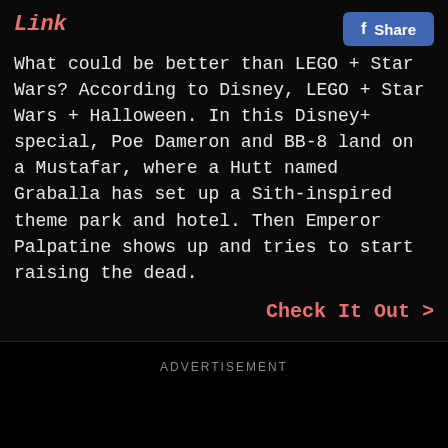Link
What could be better than LEGO + Star Wars? According to Disney, LEGO + Star Wars + Halloween. In this Disney+ special, Poe Dameron and BB-8 land on a Mustafar, where a Hutt named Graballa has set up a Sith-inspired theme park and hotel. Then Emperor Palpatine shows up and tries to start raising the dead.
Check It Out >
ADVERTISEMENT